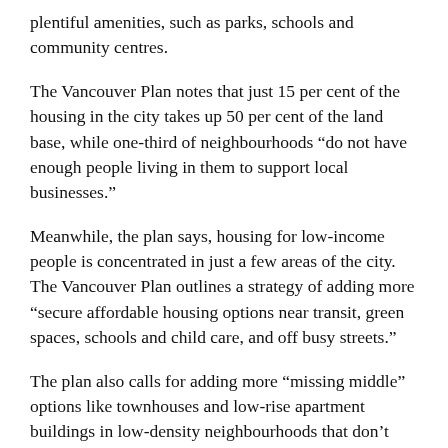plentiful amenities, such as parks, schools and community centres.
The Vancouver Plan notes that just 15 per cent of the housing in the city takes up 50 per cent of the land base, while one-third of neighbourhoods “do not have enough people living in them to support local businesses.”
Meanwhile, the plan says, housing for low-income people is concentrated in just a few areas of the city. The Vancouver Plan outlines a strategy of adding more “secure affordable housing options near transit, green spaces, schools and child care, and off busy streets.”
The plan also calls for adding more “missing middle” options like townhouses and low-rise apartment buildings in low-density neighbourhoods that don’t currently offer much in the way of affordable housing.
But the question is, will house-owners who love their